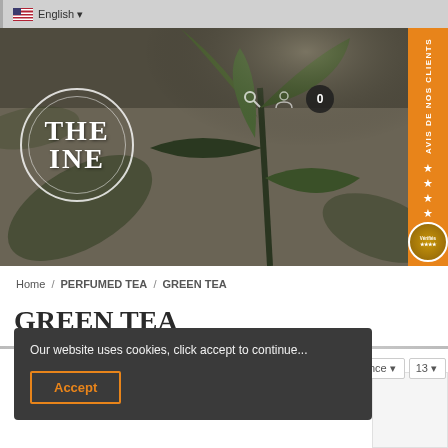English
[Figure (screenshot): Hero banner with tea plant leaves in sepia/dark green tones, with THE INE logo circle on the left and icons on the right]
Home / PERFUMED TEA / GREEN TEA
GREEN TEA
Our website uses cookies, click accept to continue...
Accept
relevance  13